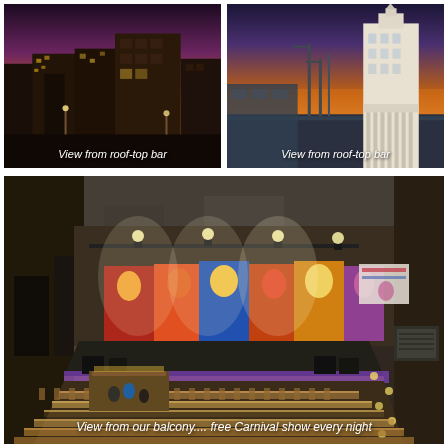[Figure (photo): View from rooftop bar — cityscape at sunset with orange and purple sky, buildings silhouetted against warm sky]
View from roof-top bar
[Figure (photo): View from rooftop bar — tall white building/tower at sunset with harbor cranes and orange-pink sky]
View from roof-top bar
[Figure (photo): View from balcony of an open-air venue with a large stage decorated with colorful carnival murals, bright stage lights, rows of wooden chairs for audience, and purple stage lighting]
View from our balcony.... free Carnival show every night